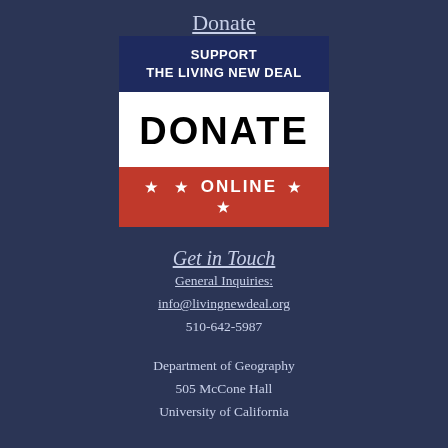Donate
[Figure (illustration): Donation banner graphic with dark blue top section reading 'SUPPORT THE LIVING NEW DEAL', white middle section with large 'DONATE' text, and red bottom section with '★ ★ ONLINE ★ ★']
Get in Touch
General Inquiries:
info@livingnewdeal.org
510-642-5987
Department of Geography
505 McCone Hall
University of California